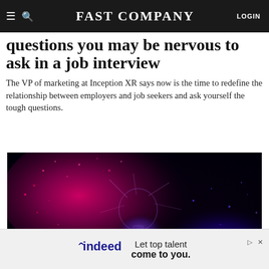FAST COMPANY  LOGIN
questions you may be nervous to ask in a job interview
The VP of marketing at Inception XR says now is the time to redefine the relationship between employers and job seekers and ask yourself the tough questions.
[Figure (photo): Exploding light bulb with vibrant pink/magenta and blue/purple colors against a dark black background, depicting shattering glass and light particles.]
indeed  Let top talent come to you.